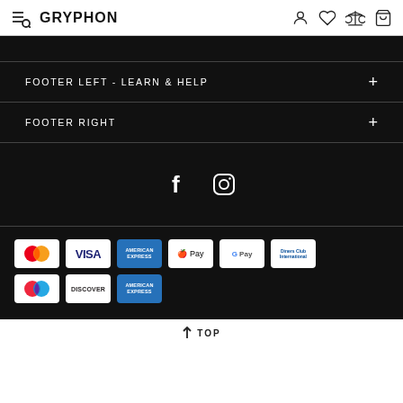GRYPHON
FOOTER LEFT - LEARN & HELP
FOOTER RIGHT
[Figure (illustration): Social media icons: Facebook and Instagram, white on black background]
[Figure (illustration): Payment method icons: Mastercard, Visa, American Express, Apple Pay, Google Pay, Diners Club International, Maestro, Discover, American Express (second row)]
TOP